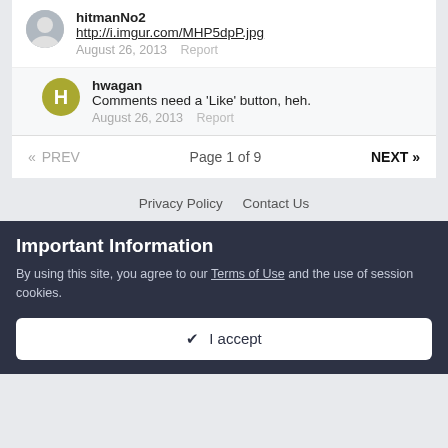hitmanNo2
http://i.imgur.com/MHP5dpP.jpg
August 26, 2013   Report
hwagan
Comments need a 'Like' button, heh.
August 26, 2013   Report
« PREV   Page 1 of 9   NEXT »
Privacy Policy   Contact Us
Important Information
By using this site, you agree to our Terms of Use and the use of session cookies.
✔ I accept